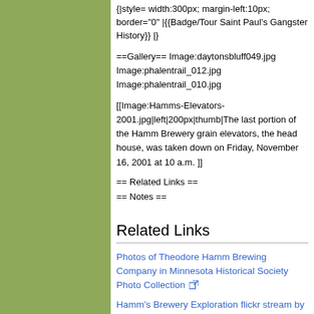{|style= width:300px; margin-left:10px; border="0" |{{Badge/Tour Saint Paul's Gangster History}} |}
==Gallery== Image:daytonsbluff049.jpg Image:phalentrail_012.jpg Image:phalentrail_010.jpg
[[Image:Hamms-Elevators-2001.jpg|left|200px|thumb|The last portion of the Hamm Brewery grain elevators, the head house, was taken down on Friday, November 16, 2001 at 10 a.m. ]]
== Related Links ==
== Notes ==
Related Links
Photos of Theodore Hamm Brewing Company in Minnesota Historical Society Photo Collection
Hamm's Brewery Exploration flickr stream by